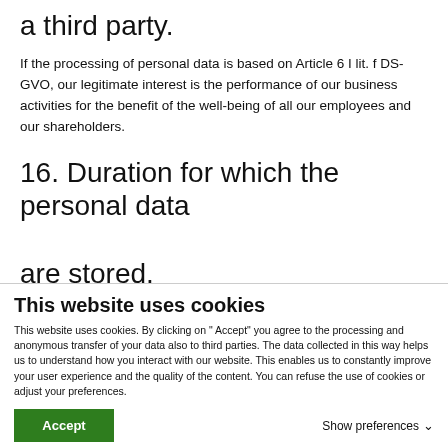a third party.
If the processing of personal data is based on Article 6 I lit. f DS-GVO, our legitimate interest is the performance of our business activities for the benefit of the well-being of all our employees and our shareholders.
16. Duration for which the personal data are stored.
This website uses cookies
This website uses cookies. By clicking on " Accept" you agree to the processing and anonymous transfer of your data also to third parties. The data collected in this way helps us to understand how you interact with our website. This enables us to constantly improve your user experience and the quality of the content. You can refuse the use of cookies or adjust your preferences.
Accept
Show preferences